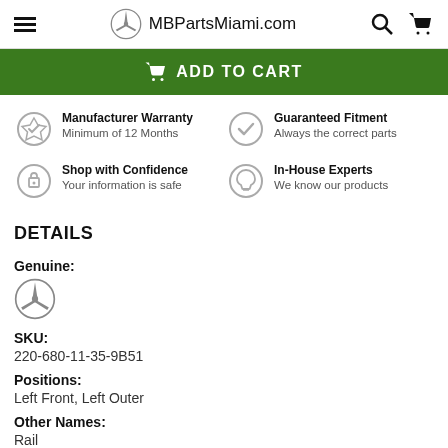MBPartsMiami.com
ADD TO CART
Manufacturer Warranty
Minimum of 12 Months
Guaranteed Fitment
Always the correct parts
Shop with Confidence
Your information is safe
In-House Experts
We know our products
DETAILS
Genuine:
[Figure (logo): Mercedes-Benz three-pointed star logo]
SKU:
220-680-11-35-9B51
Positions:
Left Front, Left Outer
Other Names:
Rail